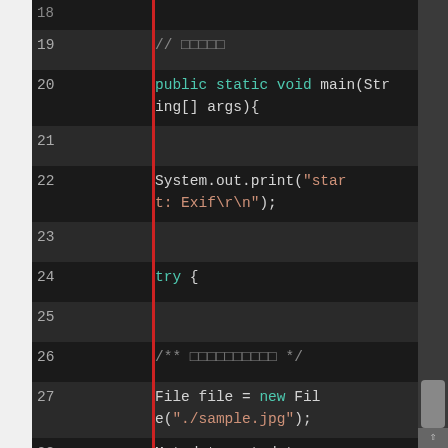[Figure (screenshot): Code editor screenshot showing Java source code lines 19-32 with syntax highlighting on a dark background. A red vertical bar appears on the left. Line numbers are shown in gray. Keywords are highlighted in teal/cyan, string literals in orange. Code includes main method declaration, System.out.print statement, try block, File and Metadata object creation, and for loop.]